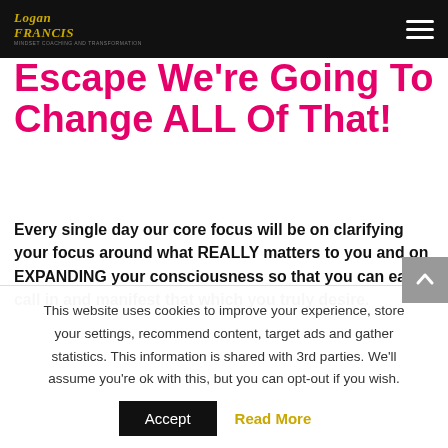Logen Francis – logo and navigation bar
Escape We're Going To Change ALL Of That!
Every single day our core focus will be on clarifying your focus around what REALLY matters to you and on EXPANDING your consciousness so that you can easily call in and manifest that which you truly desire.
This website uses cookies to improve your experience, store your settings, recommend content, target ads and gather statistics. This information is shared with 3rd parties. We'll assume you're ok with this, but you can opt-out if you wish.
Accept  Read More